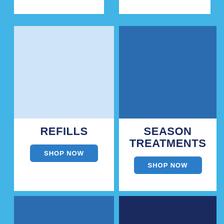[Figure (illustration): Light blue background with two product category cards. Left card has light blue sailboat logo pattern background with 'REFILLS' text and 'SHOP NOW' button. Right card has medium blue sailboat logo pattern background with 'SEASON TREATMENTS' text and 'SHOP NOW' button. Bottom two cards show medium blue and dark navy blue sailboat logo patterns partially visible.]